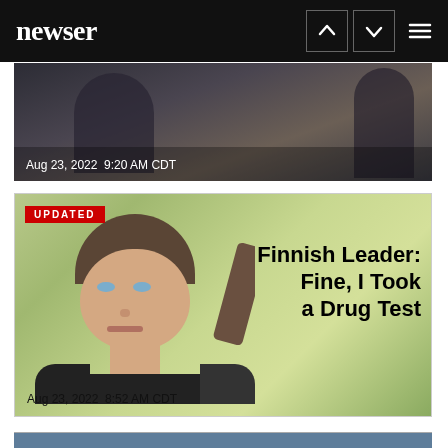newser
[Figure (photo): Partially visible news article card with a dark photo, dated Aug 23, 2022 9:20 AM CDT]
Aug 23, 2022  9:20 AM CDT
[Figure (photo): News article card with UPDATED badge and headline 'Finnish Leader: Fine, I Took a Drug Test' showing a woman with dark hair in a ponytail against a blurred green background, dated Aug 23, 2022 8:52 AM CDT]
Aug 23, 2022  8:52 AM CDT